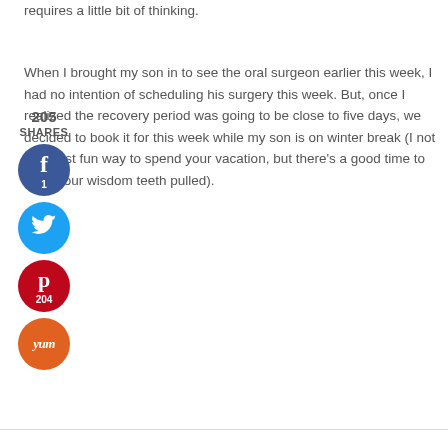requires a little bit of thinking.
When I brought my son in to see the oral surgeon earlier this week, I had no intention of scheduling his surgery this week. But, once I realized the recovery period was going to be close to five days, we decided to book it for this week while my son is on winter break (I not the most fun way to spend your vacation, but there’s never a good time to have your wisdom teeth pulled).
[Figure (infographic): Social sharing widget showing 205 SHARES, with Facebook (1), Twitter, Pinterest (204), and Yummly buttons]